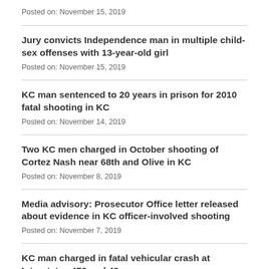Posted on: November 15, 2019
Jury convicts Independence man in multiple child-sex offenses with 13-year-old girl
Posted on: November 15, 2019
KC man sentenced to 20 years in prison for 2010 fatal shooting in KC
Posted on: November 14, 2019
Two KC men charged in October shooting of Cortez Nash near 68th and Olive in KC
Posted on: November 8, 2019
Media advisory: Prosecutor Office letter released about evidence in KC officer-involved shooting
Posted on: November 7, 2019
KC man charged in fatal vehicular crash at Interstates 470 and 49